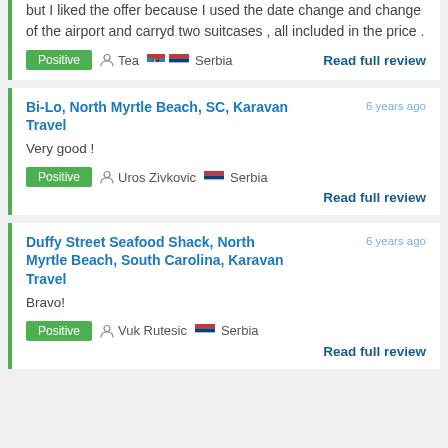but I liked the offer because I used the date change and change of the airport and carryd two suitcases , all included in the price .
Positive | Tea | Serbia | Read full review
Bi-Lo, North Myrtle Beach, SC, Karavan Travel — 6 years ago
Very good !
Positive | Uros Zivkovic | Serbia | Read full review
Duffy Street Seafood Shack, North Myrtle Beach, South Carolina, Karavan Travel — 6 years ago
Bravo!
Positive | Vuk Rutesic | Serbia | Read full review